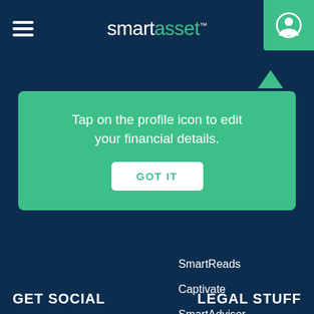smartasset™
Tap on the profile icon to edit your financial details.
GOT IT
SmartReads
Captivate
SmartAdvisor
Press
SmartAdvisorMatch
GET SOCIAL
LEGAL STUFF